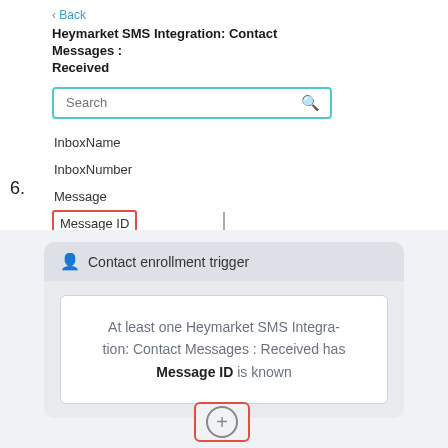‹ Back
Heymarket SMS Integration: Contact Messages : Received
[Figure (screenshot): Search input field with teal border and search icon]
InboxName
InboxNumber
Message
Message ID (highlighted with red border)
Name
Occurred
UserName
6.
[Figure (screenshot): Contact enrollment trigger card showing: At least one Heymarket SMS Integration: Contact Messages : Received has Message ID is known. Below is a plus button enclosed in a red border rectangle.]